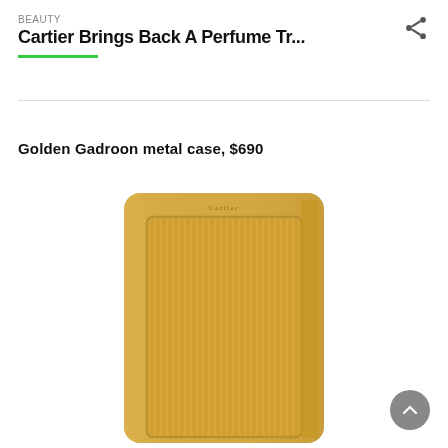BEAUTY
Cartier Brings Back A Perfume Tr...
Golden Gadroon metal case, $690
[Figure (photo): A gold-toned Cartier perfume case with vertical ribbed/gadroon pattern engraving on the front panel, rectangular shape with rounded top corners, small Cartier logo at top center. Photographed on white background.]